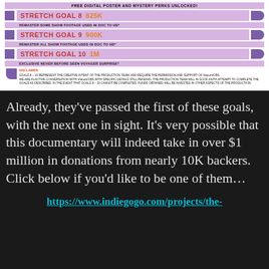[Figure (infographic): Kickstarter/Indiegogo stretch goals infographic showing Stretch Goal 8 (825K) - Remaster some show footage used in doc to HD*, Stretch Goal 9 (900K) - Remaster all show footage used in doc to HD*, Stretch Goal 10 (1M) - Exclusive never before seen Voyager surprise*. Includes disclaimer about goals 8-10 requiring permission from Viacom/CBS.]
Already, they’ve passed the first of these goals, with the next one in sight. It’s very possible that this documentary will indeed take in over $1 million in donations from nearly 10K backers. Click below if you’d like to be one of them…
https://www.indiegogo.com/projects/the-